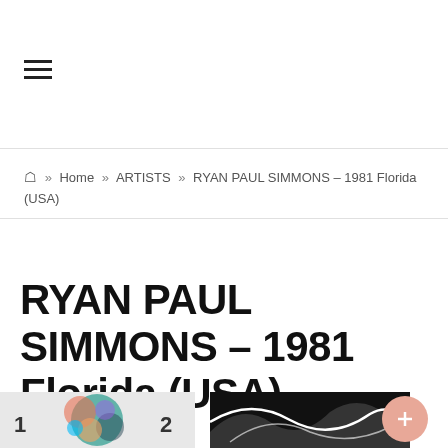Navigation menu (hamburger icon)
Home » ARTISTS » RYAN PAUL SIMMONS – 1981 Florida (USA)
RYAN PAUL SIMMONS – 1981 Florida (USA)
[Figure (photo): Colorful globe artwork with numbers 1 and 2 visible]
[Figure (photo): Black and white abstract art image]